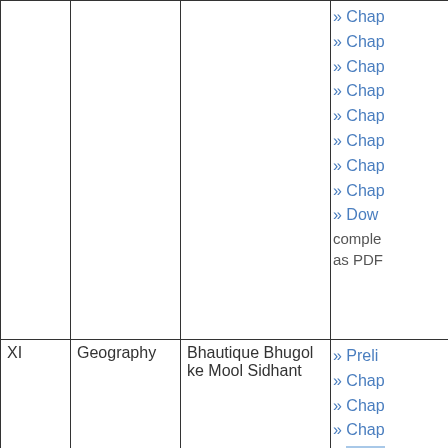| Class | Subject | Book | Links |
| --- | --- | --- | --- |
|  |  |  | » Chap
» Chap
» Chap
» Chap
» Chap
» Chap
» Chap
» Chap
» Dow comple as PDF |
| XI | Geography | Bhautique Bhugol ke Mool Sidhant | » Preli
» Chap
» Chap
» Chap
» Chap
» Chap |